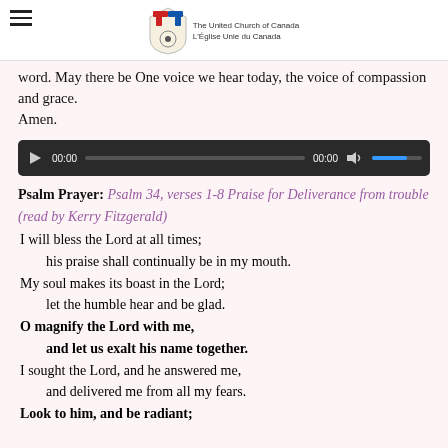The United Church of Canada / L'Église Unie du Canada
word. May there be One voice we hear today, the voice of compassion and grace.
Amen.
[Figure (other): Audio player with play button, time display 00:00, progress bar, volume control with blue fill]
Psalm Prayer: Psalm 34, verses 1-8 Praise for Deliverance from trouble (read by Kerry Fitzgerald)
I will bless the Lord at all times;
    his praise shall continually be in my mouth.
My soul makes its boast in the Lord;
    let the humble hear and be glad.
O magnify the Lord with me,
    and let us exalt his name together.
I sought the Lord, and he answered me,
    and delivered me from all my fears.
Look to him, and be radiant;